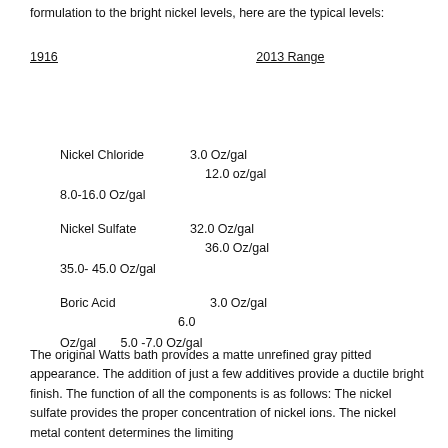formulation to the bright nickel levels, here are the typical levels:
|  | 1916 | 2013 Range |
| --- | --- | --- |
| Nickel Chloride | 3.0 Oz/gal | 12.0 oz/gal |
|  | 8.0-16.0 Oz/gal |  |
| Nickel Sulfate | 32.0 Oz/gal | 36.0 Oz/gal |
|  | 35.0- 45.0 Oz/gal |  |
| Boric Acid | 3.0 Oz/gal | 6.0 Oz/gal |
|  | 5.0 -7.0 Oz/gal |  |
The original Watts bath provides a matte unrefined gray pitted appearance. The addition of just a few additives provide a ductile bright finish. The function of all the components is as follows: The nickel sulfate provides the proper concentration of nickel ions. The nickel metal content determines the limiting